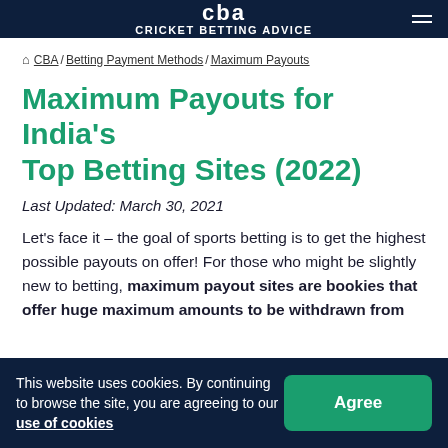CBA CRICKET BETTING ADVICE
CBA / Betting Payment Methods / Maximum Payouts
Maximum Payouts for India's Top Betting Sites (2022)
Last Updated: March 30, 2021
Let's face it – the goal of sports betting is to get the highest possible payouts on offer! For those who might be slightly new to betting, maximum payout sites are bookies that offer huge maximum amounts to be withdrawn from
This website uses cookies. By continuing to browse the site, you are agreeing to our use of cookies